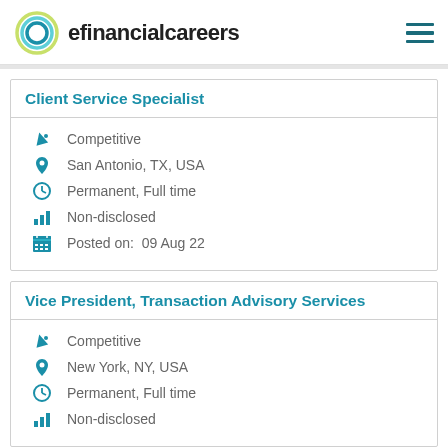efinancialcareers
Client Service Specialist
Competitive
San Antonio, TX, USA
Permanent, Full time
Non-disclosed
Posted on:  09 Aug 22
Vice President, Transaction Advisory Services
Competitive
New York, NY, USA
Permanent, Full time
Non-disclosed